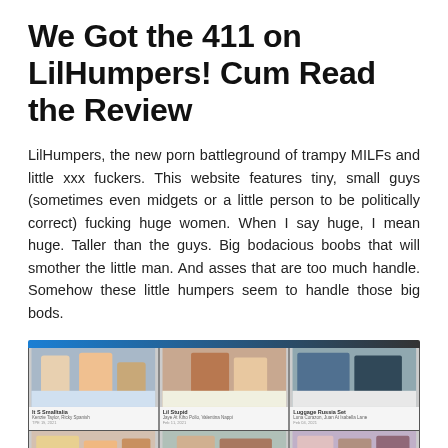We Got the 411 on LilHumpers! Cum Read the Review
LilHumpers, the new porn battleground of trampy MILFs and little xxx fuckers. This website features tiny, small guys (sometimes even midgets or a little person to be politically correct) fucking huge women. When I say huge, I mean huge. Taller than the guys. Big bodacious boobs that will smother the little man. And asses that are too much handle. Somehow these little humpers seem to handle those big bods.
[Figure (screenshot): Screenshot of LilHumpers website showing a grid of video thumbnails with two rows of three thumbnails each, featuring a blue-black header bar at top and small caption text under each thumbnail.]